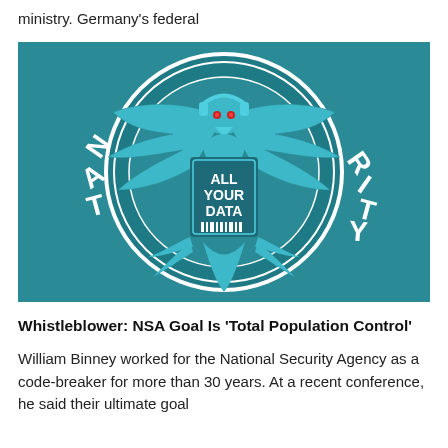ministry. Germany's federal
[Figure (illustration): Parody NSA seal showing a bald eagle wearing headphones with glowing red eyes, holding a shield that reads 'ALL YOUR DATA', set in a teal/blue circular emblem with the partial text 'NAT' on left and 'RITY' on right]
Whistleblower: NSA Goal Is 'Total Population Control'
William Binney worked for the National Security Agency as a code-breaker for more than 30 years. At a recent conference, he said their ultimate goal